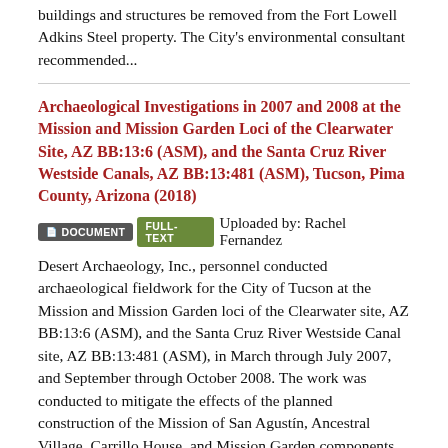buildings and structures be removed from the Fort Lowell Adkins Steel property. The City's environmental consultant recommended...
Archaeological Investigations in 2007 and 2008 at the Mission and Mission Garden Loci of the Clearwater Site, AZ BB:13:6 (ASM), and the Santa Cruz River Westside Canals, AZ BB:13:481 (ASM), Tucson, Pima County, Arizona (2018)
DOCUMENT  FULL-TEXT  Uploaded by: Rachel Fernandez
Desert Archaeology, Inc., personnel conducted archaeological fieldwork for the City of Tucson at the Mission and Mission Garden loci of the Clearwater site, AZ BB:13:6 (ASM), and the Santa Cruz River Westside Canal site, AZ BB:13:481 (ASM), in March through July 2007, and September through October 2008. The work was conducted to mitigate the effects of the planned construction of the Mission of San Agustín, Ancestral Village, Carrillo House, and Mission Garden components of